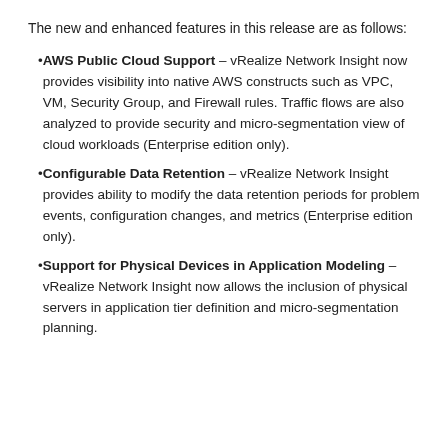The new and enhanced features in this release are as follows:
AWS Public Cloud Support – vRealize Network Insight now provides visibility into native AWS constructs such as VPC, VM, Security Group, and Firewall rules. Traffic flows are also analyzed to provide security and micro-segmentation view of cloud workloads (Enterprise edition only).
Configurable Data Retention – vRealize Network Insight provides ability to modify the data retention periods for problem events, configuration changes, and metrics (Enterprise edition only).
Support for Physical Devices in Application Modeling – vRealize Network Insight now allows the inclusion of physical servers in application tier definition and micro-segmentation planning.